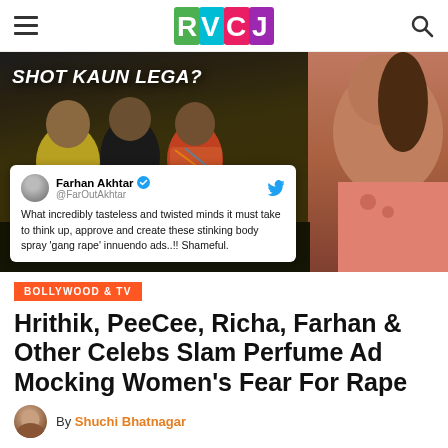RVCJ
[Figure (screenshot): Hero image from a show/ad with three young men in foreground, text overlay 'SHOT KAUN LEGA?' and a tweet by Farhan Akhtar embedded at bottom left. Right side shows a woman looking sideways.]
BOLLYWOOD & TV
Hrithik, PeeCee, Richa, Farhan & Other Celebs Slam Perfume Ad Mocking Women's Fear For Rape
By Shuchi Bhatnagar